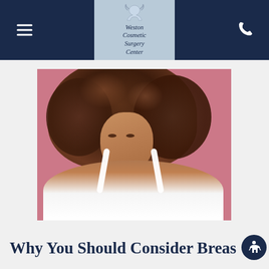Weston Cosmetic Surgery Center
[Figure (photo): Young woman with voluminous curly brown hair, wearing a white bra/top, posing against a pink background. Portrait-style photo used for a cosmetic surgery webpage.]
Why You Should Consider Breas